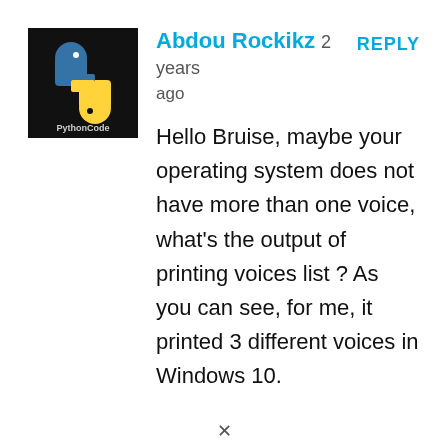[Figure (logo): PythonCode logo: black background with Python snake icon and yellow/blue text 'PythonCode']
Abdou Rockikz 2 years ago
REPLY
Hello Bruise, maybe your operating system does not have more than one voice, what's the output of printing voices list ? As you can see, for me, it printed 3 different voices in Windows 10.